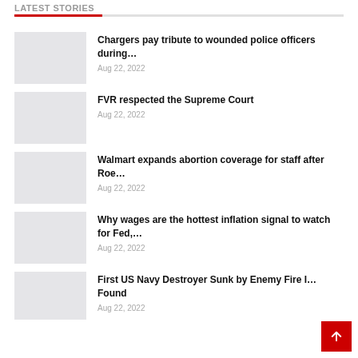LATEST STORIES
Chargers pay tribute to wounded police officers during… | Aug 22, 2022
FVR respected the Supreme Court | Aug 22, 2022
Walmart expands abortion coverage for staff after Roe… | Aug 22, 2022
Why wages are the hottest inflation signal to watch for Fed,… | Aug 22, 2022
First US Navy Destroyer Sunk by Enemy Fire I… Found | Aug 22, 2022